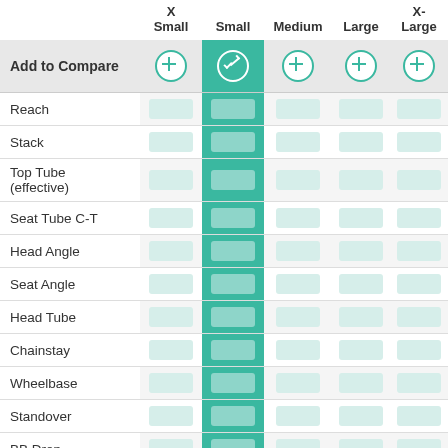|  | X-Small | Small | Medium | Large | X-Large |
| --- | --- | --- | --- | --- | --- |
| Add to Compare | + | ✓ | + | + | + |
| Reach |  |  |  |  |  |
| Stack |  |  |  |  |  |
| Top Tube (effective) |  |  |  |  |  |
| Seat Tube C-T |  |  |  |  |  |
| Head Angle |  |  |  |  |  |
| Seat Angle |  |  |  |  |  |
| Head Tube |  |  |  |  |  |
| Chainstay |  |  |  |  |  |
| Wheelbase |  |  |  |  |  |
| Standover |  |  |  |  |  |
| BB Drop |  |  |  |  |  |